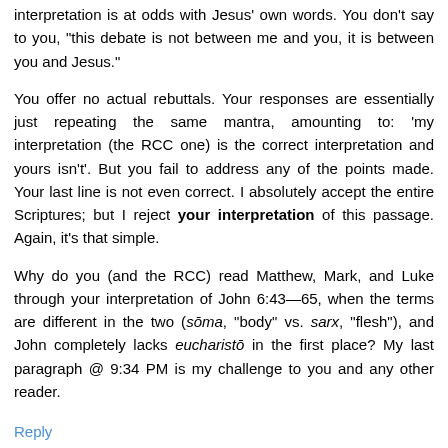interpretation is at odds with Jesus' own words. You don't say to you, "this debate is not between me and you, it is between you and Jesus."
You offer no actual rebuttals. Your responses are essentially just repeating the same mantra, amounting to: 'my interpretation (the RCC one) is the correct interpretation and yours isn't'. But you fail to address any of the points made. Your last line is not even correct. I absolutely accept the entire Scriptures; but I reject your interpretation of this passage. Again, it's that simple.
Why do you (and the RCC) read Matthew, Mark, and Luke through your interpretation of John 6:43—65, when the terms are different in the two (sōma, “body” vs. sarx, "flesh"), and John completely lacks eucharistō in the first place? My last paragraph @ 9:34 PM is my challenge to you and any other reader.
Reply
Anonymous 11:37 PM